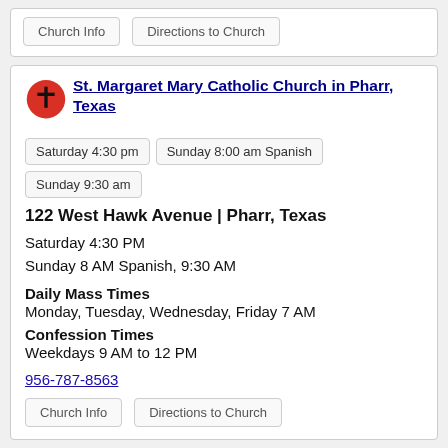Church Info
Directions to Church
St. Margaret Mary Catholic Church in Pharr, Texas
Saturday 4:30 pm
Sunday 8:00 am Spanish
Sunday 9:30 am
122 West Hawk Avenue | Pharr, Texas
Saturday 4:30 PM
Sunday 8 AM Spanish, 9:30 AM
Daily Mass Times
Monday, Tuesday, Wednesday, Friday 7 AM
Confession Times
Weekdays 9 AM to 12 PM
956-787-8563
Church Info
Directions to Church
St. John the Baptist Catholic Church in Pharr, Texas